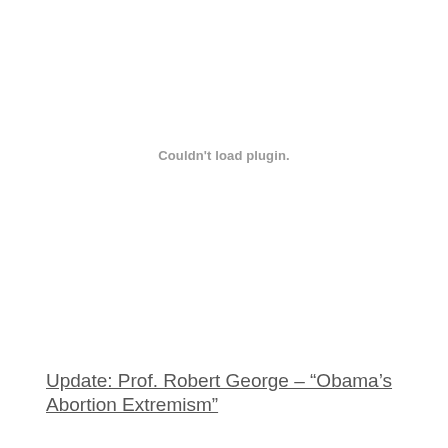[Figure (other): Embedded plugin area showing 'Couldn't load plugin.' message in gray text]
Update: Prof. Robert George – “Obama’s Abortion Extremism”